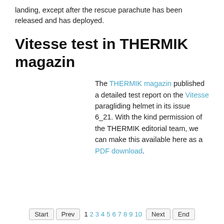landing, except after the rescue parachute has been released and has deployed.
Vitesse test in THERMIK magazin
The THERMIK magazin published a detailed test report on the Vitesse paragliding helmet in its issue 6_21. With the kind permission of the THERMIK editorial team, we can make this available here as a PDF download.
Start  Prev  1 2 3 4 5 6 7 8 9 10  Next  End